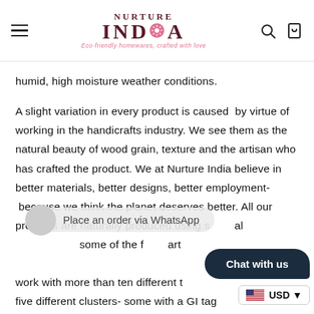NURTURE INDIA — Eco-friendly homewares, crafted with love
humid, high moisture weather conditions.
A slight variation in every product is caused by virtue of working in the handicrafts industry. We see them as the natural beauty of wood grain, texture and the artisan who has crafted the product. We at Nurture India believe in better materials, better designs, better employment- because we think the planet deserves better. All our products are naturally produced using s… al… some of the f… artisans and craftspeople… work with more than ten different t… five different clusters- some with a GI tag (geographically indicated) ensuring that that the